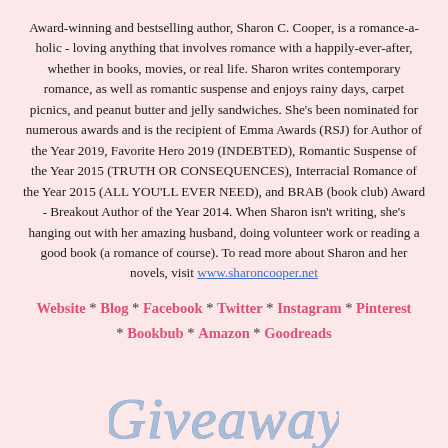Award-winning and bestselling author, Sharon C. Cooper, is a romance-a-holic - loving anything that involves romance with a happily-ever-after, whether in books, movies, or real life. Sharon writes contemporary romance, as well as romantic suspense and enjoys rainy days, carpet picnics, and peanut butter and jelly sandwiches. She's been nominated for numerous awards and is the recipient of Emma Awards (RSJ) for Author of the Year 2019, Favorite Hero 2019 (INDEBTED), Romantic Suspense of the Year 2015 (TRUTH OR CONSEQUENCES), Interracial Romance of the Year 2015 (ALL YOU'LL EVER NEED), and BRAB (book club) Award - Breakout Author of the Year 2014. When Sharon isn't writing, she's hanging out with her amazing husband, doing volunteer work or reading a good book (a romance of course). To read more about Sharon and her novels, visit www.sharoncooper.net
Website * Blog * Facebook * Twitter * Instagram * Pinterest * Bookbub * Amazon * Goodreads
[Figure (illustration): Cursive script text reading 'Giveaway' in a decorative handwriting style, light blue/periwinkle color]